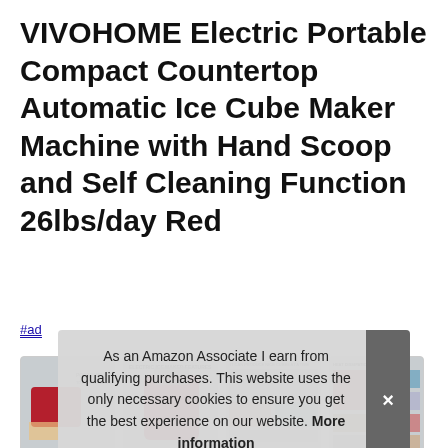VIVOHOME Electric Portable Compact Countertop Automatic Ice Cube Maker Machine with Hand Scoop and Self Cleaning Function 26lbs/day Red
#ad
[Figure (photo): Four product images of the VIVOHOME ice cube maker machine in red, showing the product in use, features, ice cube sizes, and heat dissipation diagrams.]
As an Amazon Associate I earn from qualifying purchases. This website uses the only necessary cookies to ensure you get the best experience on our website. More information
VIVO... less... com... will...